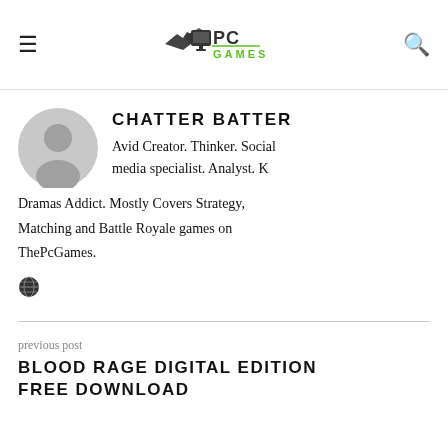PC Games — navigation header with hamburger menu, logo, and search icon
CHATTER BATTER
Avid Creator. Thinker. Social media specialist. Analyst. K Dramas Addict. Mostly Covers Strategy, Matching and Battle Royale games on ThePcGames.
[Figure (illustration): Globe/world icon]
previous post
BLOOD RAGE DIGITAL EDITION FREE DOWNLOAD